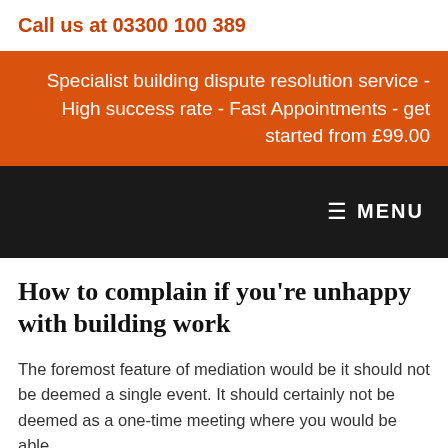Call us at 03300 100 389
Specialist building dispute resolution service - High success rate - Fast Appointments - get started from £99.00
≡ MENU
How to complain if you're unhappy with building work
The foremost feature of mediation would be it should not be deemed a single event. It should certainly not be deemed as a one-time meeting where you would be able